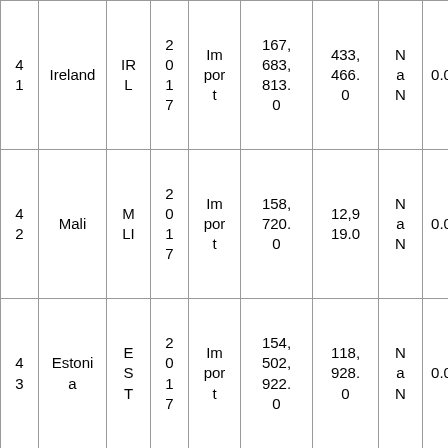| 4 1 | Ireland | IR L | 2 0 1 7 | Im por t | 167, 683, 813. 0 | 433, 466. 0 | N a N | 0.0 | 38 6.8 4 |
| 4 2 | Mali | M LI | 2 0 1 7 | Im por t | 158, 720. 0 | 12,9 19.0 | N a N | 0.0 | 12. 29 |
| 4 3 | Estonia | E S T | 2 0 1 7 | Im por t | 154, 502, 922. 0 | 118, 928. 0 | N a N | 0.0 | 12 99. 13 |